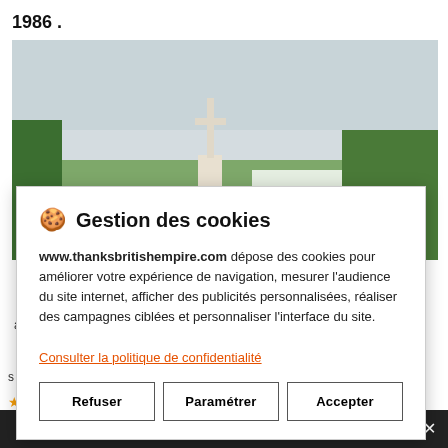1986 .
[Figure (photo): A cemetery with a large stone cross monument, green hedges, and white grave markers under a pale sky]
a
s
🍪 Gestion des cookies
www.thanksbritishempire.com dépose des cookies pour améliorer votre expérience de navigation, mesurer l'audience du site internet, afficher des publicités personnalisées, réaliser des campagnes ciblées et personnaliser l'interface du site.
Consulter la politique de confidentialité
Refuser | Paramétrer | Accepter
e-monsite.com